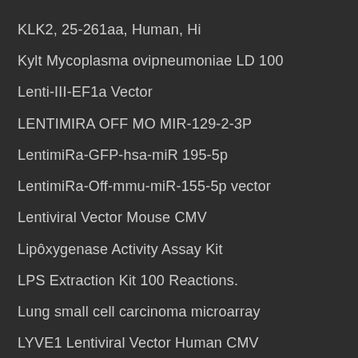KLK2, 25-261aa, Human, Hi
Kylt Mycoplasma ovipneumoniae LD 100
Lenti-III-EF1a Vector
LENTIMIRA OFF MO MIR-129-2-3P
LentimiRa-GFP-hsa-miR 195-5p
LentimiRa-Off-mmu-miR-155-5p vector
Lentiviral Vector Mouse CMV
Lipôxygenase Activity Assay Kit
LPS Extraction Kit 100 Reactions.
Lung small cell carcinoma microarray
LYVE1 Lentiviral Vector Human CMV
Magic Red Cathepsin B Assay Kit